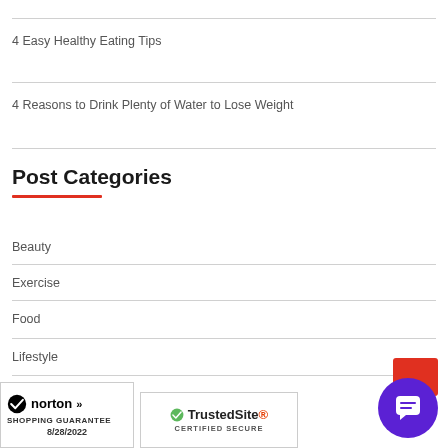4 Easy Healthy Eating Tips
4 Reasons to Drink Plenty of Water to Lose Weight
Post Categories
Beauty
Exercise
Food
Lifestyle
[Figure (logo): Norton Shopping Guarantee badge dated 8/28/2022]
[Figure (logo): TrustedSite Certified Secure badge]